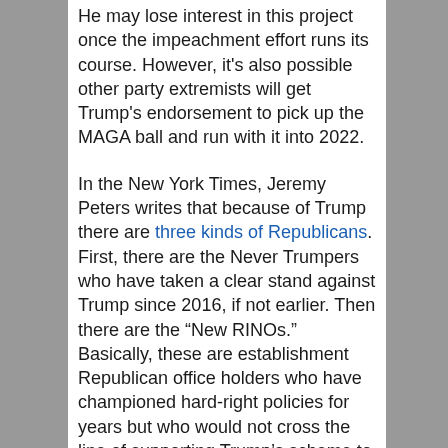He may lose interest in this project once the impeachment effort runs its course. However, it's also possible other party extremists will get Trump's endorsement to pick up the MAGA ball and run with it into 2022.
In the New York Times, Jeremy Peters writes that because of Trump there are three kinds of Republicans. First, there are the Never Trumpers who have taken a clear stand against Trump since 2016, if not earlier. Then there are the "New RINOs." Basically, these are establishment Republican office holders who have championed hard-right policies for years but who would not cross the line of supporting Trump's scheme to overturn the election. These also include the ten Republican House members who voted for the new article